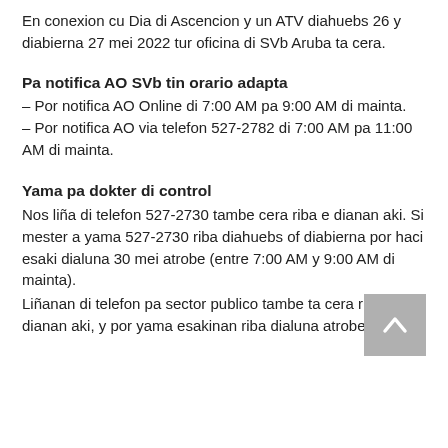En conexion cu Dia di Ascencion y un ATV diahuebs 26 y diabierna 27 mei 2022 tur oficina di SVb Aruba ta cera.
Pa notifica AO SVb tin orario adapta
– Por notifica AO Online di 7:00 AM pa 9:00 AM di mainta.
– Por notifica AO via telefon 527-2782 di 7:00 AM pa 11:00 AM di mainta.
Yama pa dokter di control
Nos liña di telefon 527-2730 tambe cera riba e dianan aki. Si mester a yama 527-2730 riba diahuebs of diabierna por haci esaki dialuna 30 mei atrobe (entre 7:00 AM y 9:00 AM di mainta).
Liñanan di telefon pa sector publico tambe ta cera riba e dianan aki, y por yama esakinan riba dialuna atrobe.